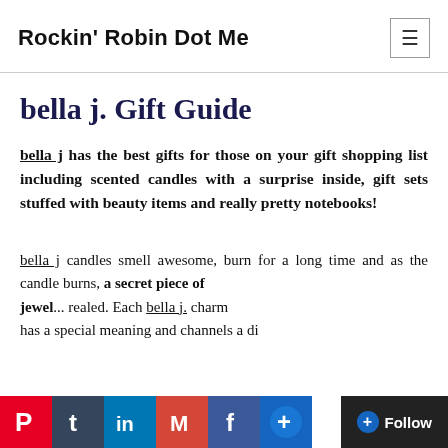Rockin' Robin Dot Me
bella j. Gift Guide
bella j has the best gifts for those on your gift shopping list including scented candles with a surprise inside, gift sets stuffed with beauty items and really pretty notebooks!
bella j candles smell awesome, burn for a long time and as the candle burns, a secret piece of jewel... revealed. Each bella j. charm has a special meaning and channels a di...